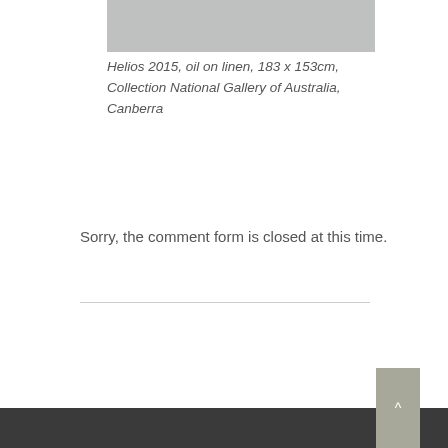[Figure (photo): Grey placeholder image rectangle at top of page]
Helios 2015, oil on linen, 183 x 153cm, Collection National Gallery of Australia, Canberra
Sorry, the comment form is closed at this time.